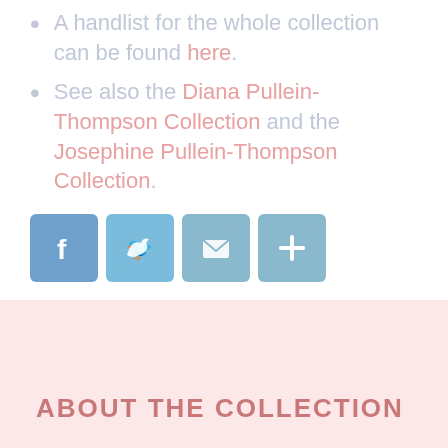A handlist for the whole collection can be found here.
See also the Diana Pullein-Thompson Collection and the Josephine Pullein-Thompson Collection.
[Figure (infographic): Social sharing icons: Facebook (blue), Twitter (light blue), Email (teal), More/Plus (teal)]
ABOUT THE COLLECTION